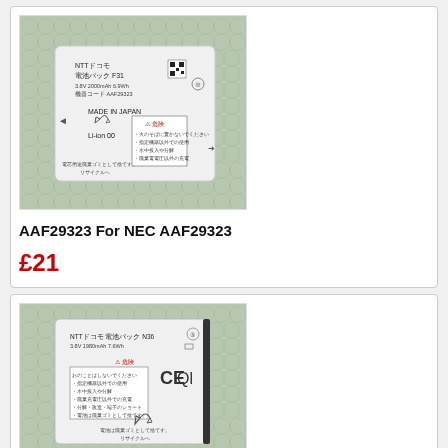[Figure (photo): Photo of NTTドコモ 電池パック F31 battery (AAF29323) placed on bubble wrap packaging. White rectangular battery with Japanese text, Li-ion 00 label, recycling symbol, and warning symbols.]
AAF29323 For NEC AAF29323
£21
[Figure (photo): Photo of NTTドコモ 電池パック N36 battery, 3.8V 1980mAh 7.6Wh, placed on bubble wrap. White battery with CE, Qi wireless charging logo, recycling symbol, and Japanese warning text.]